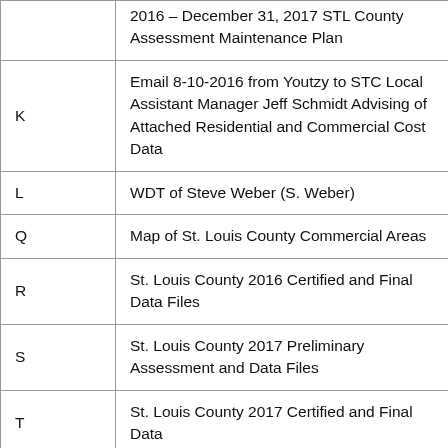| Exhibit | Description |
| --- | --- |
|  | 2016 – December 31, 2017 STL County Assessment Maintenance Plan |
| K | Email 8-10-2016 from Youtzy to STC Local Assistant Manager Jeff Schmidt Advising of Attached Residential and Commercial Cost Data |
| L | WDT of Steve Weber (S. Weber) |
| Q | Map of St. Louis County Commercial Areas |
| R | St. Louis County 2016 Certified and Final Data Files |
| S | St. Louis County 2017 Preliminary Assessment and Data Files |
| T | St. Louis County 2017 Certified and Final Data |